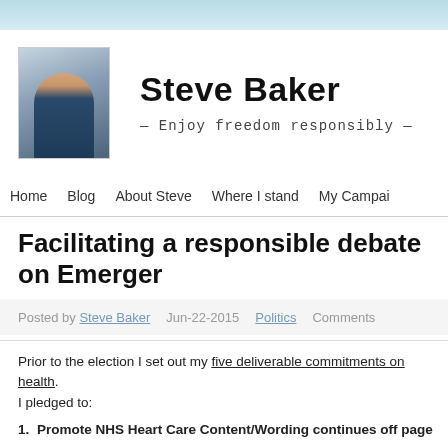[Figure (photo): Portrait photo of Steve Baker in a dark suit]
Steve Baker
— Enjoy freedom responsibly —
Home   Blog   About Steve   Where I stand   My Campai
Facilitating a responsible debate on Emergen
Posted by Steve Baker   Jun-22-2015   Politics   Comments
Prior to the election I set out my five deliverable commitments on health.
I pledged to:
1. [NHS Heart Care Content/Wording continues off page]